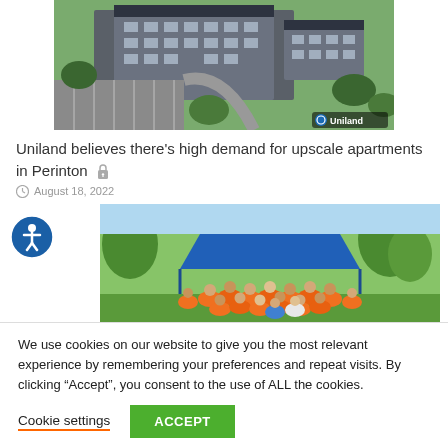[Figure (photo): Aerial view of a large apartment complex with parking lot and green landscaping, with Uniland logo in bottom right corner]
Uniland believes there's high demand for upscale apartments in Perinton
August 18, 2022
[Figure (photo): Group photo of people wearing orange t-shirts gathered outdoors under a blue canopy tent]
We use cookies on our website to give you the most relevant experience by remembering your preferences and repeat visits. By clicking “Accept”, you consent to the use of ALL the cookies.
Cookie settings  ACCEPT